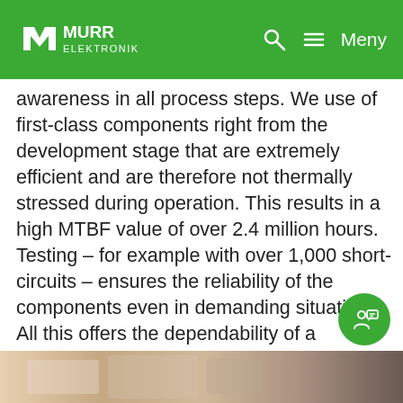MURR ELEKTRONIK — Meny
awareness in all process steps. We use of first-class components right from the development stage that are extremely efficient and are therefore not thermally stressed during operation. This results in a high MTBF value of over 2.4 million hours. Testing – for example with over 1,000 short-circuits – ensures the reliability of the components even in demanding situations. All this offers the dependability of a significantly long service life and regular availability.
[Figure (photo): Partial photo visible at the bottom of the page, showing what appears to be electronic components or industrial equipment.]